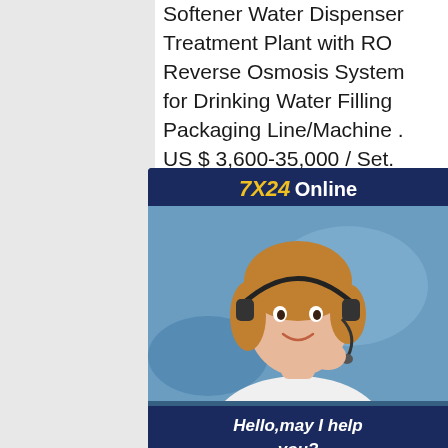Softener Water Dispenser Treatment Plant with RO Reverse Osmosis System for Drinking Water Filling Packaging Line/Machine . US $ 3,600-35,000 / Set. FOB. MOQ 1 Set. Application Ind. Semi Automatic Recycled Bottles off Washing MachineSemi-automatic labeling and bottle-brushing washing machine equipment is a new type bottle-brushing equipment put into after many years of trial-manufacturing modification, which has the characteristics of strong applicability, low failure obvious reduction of vulnerable parts. Round labeling machine, Round labeling machine direct HZPK ARLM-200B Automatic round plastic glass bottle adhesive sticker transparent pneumatic labelling machine holding type price
[Figure (photo): Customer service chat widget with '7X24 Online' header in yellow and white on dark navy background, photo of a smiling woman wearing a headset, text 'Hello, may I help you?' and a yellow 'Get Latest Price' button]